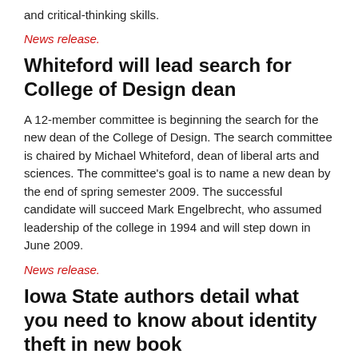and critical-thinking skills.
News release.
Whiteford will lead search for College of Design dean
A 12-member committee is beginning the search for the new dean of the College of Design. The search committee is chaired by Michael Whiteford, dean of liberal arts and sciences. The committee's goal is to name a new dean by the end of spring semester 2009. The successful candidate will succeed Mark Engelbrecht, who assumed leadership of the college in 1994 and will step down in June 2009.
News release.
Iowa State authors detail what you need to know about identity theft in new book